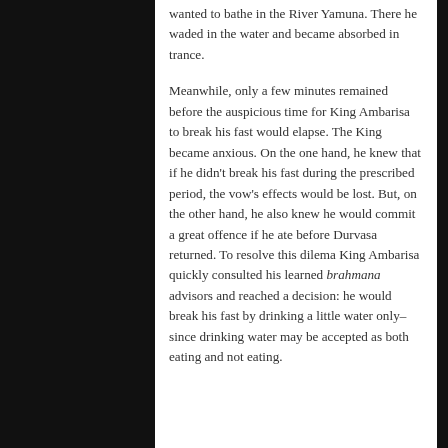wanted to bathe in the River Yamuna. There he waded in the water and became absorbed in trance.
Meanwhile, only a few minutes remained before the auspicious time for King Ambarisa to break his fast would elapse. The King became anxious. On the one hand, he knew that if he didn't break his fast during the prescribed period, the vow's effects would be lost. But, on the other hand, he also knew he would commit a great offence if he ate before Durvasa returned. To resolve this dilema King Ambarisa quickly consulted his learned brahmana advisors and reached a decision: he would break his fast by drinking a little water only–since drinking water may be accepted as both eating and not eating.